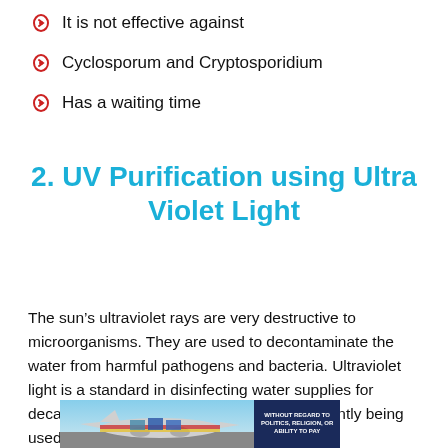It is not effective against
Cyclosporum and Cryptosporidium
Has a waiting time
2. UV Purification using Ultra Violet Light
The sun’s ultraviolet rays are very destructive to microorganisms. They are used to decontaminate the water from harmful pathogens and bacteria. Ultraviolet light is a standard in disinfecting water supplies for decades at the municipal; however, it is currently being used at homes.
[Figure (photo): Advertisement image showing an airplane being loaded with cargo, with a dark blue banner reading WITHOUT REGARD TO on the right side.]